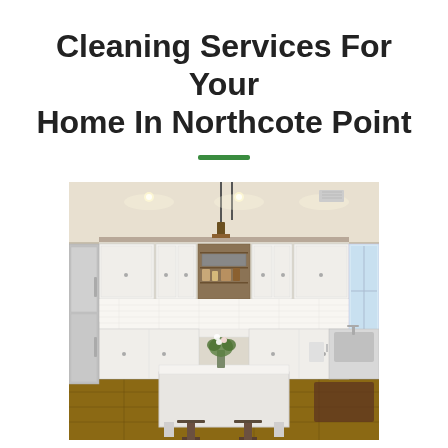Cleaning Services For Your Home In Northcote Point
[Figure (photo): Modern white kitchen with island, bar stools, pendant lighting, stainless steel refrigerator, white cabinets, and hardwood floors]